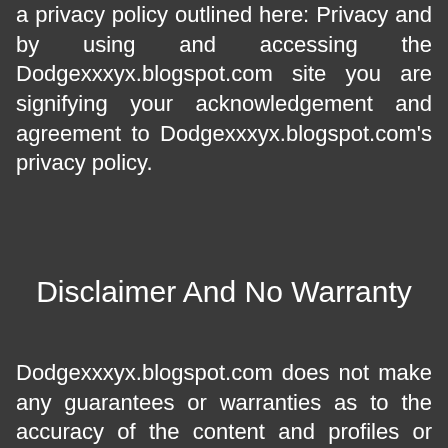a privacy policy outlined here: Privacy and by using and accessing the Dodgexxxyx.blogspot.com site you are signifying your acknowledgement and agreement to Dodgexxxyx.blogspot.com's privacy policy.
Disclaimer And No Warranty
Dodgexxxyx.blogspot.com does not make any guarantees or warranties as to the accuracy of the content and profiles or messages. Dodgexxxyx.blogspot.com is not...